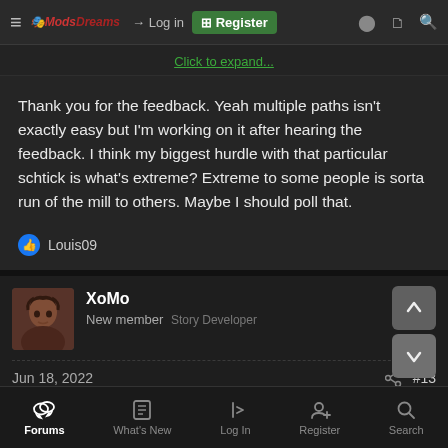≡  [Logo]  → Log in  ⊞ Register
Click to expand...
Thank you for the feedback. Yeah multiple paths isn't exactly easy but I'm working on it after hearing the feedback. I think my biggest hurdle with that particular schtick is what's extreme? Extreme to some people is sorta run of the mill to others. Maybe I should poll that.
👍 Louis09
XoMo
New member  Story Developer
Jun 18, 2022   #13
Forums  What's New  Log In  Register  Search